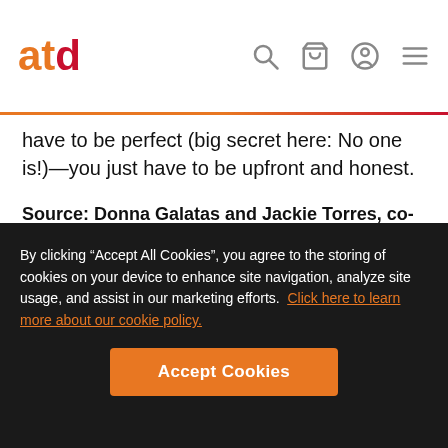atd
have to be perfect (big secret here: No one is!)—you just have to be upfront and honest.
Source: Donna Galatas and Jackie Torres, co-owners of The Galatas Group
Be an active listener
By clicking “Accept All Cookies”, you agree to the storing of cookies on your device to enhance site navigation, analyze site usage, and assist in our marketing efforts.  Click here to learn more about our cookie policy.
Accept Cookies